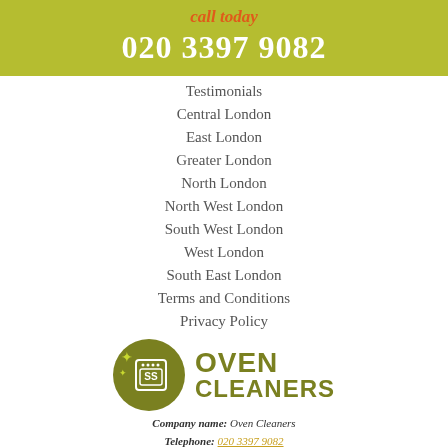call today
020 3397 9082
Testimonials
Central London
East London
Greater London
North London
North West London
South West London
West London
South East London
Terms and Conditions
Privacy Policy
[Figure (logo): Oven Cleaners logo with olive green circle containing oven icon and sparkle stars, with OVEN CLEANERS text in olive green]
Company name: Oven Cleaners
Telephone: 020 3397 9082
Opening Hours: Monday to Sunday, 08:00-23:00
Street address: 28A Courtney Rd
Postal code: N7 7BQ
City: London
Country: United Kingdom